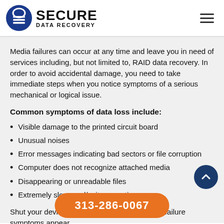SECURE DATA RECOVERY
Media failures can occur at any time and leave you in need of services including, but not limited to, RAID data recovery. In order to avoid accidental damage, you need to take immediate steps when you notice symptoms of a serious mechanical or logical issue.
Common symptoms of data loss include:
Visible damage to the printed circuit board
Unusual noises
Error messages indicating bad sectors or file corruption
Computer does not recognize attached media
Disappearing or unreadable files
Extremely slow read/write operations
Shut your device off as soon as you can when failure symptoms appear. Do not attempt to recover your own data; digital storage devices
313-286-0067